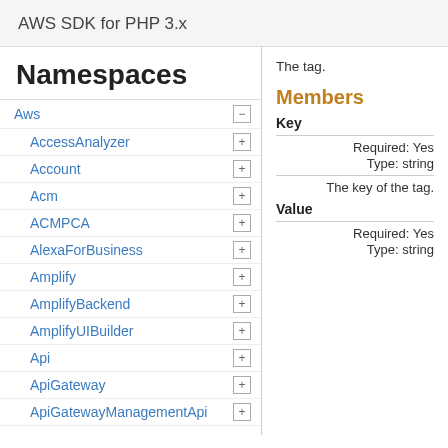AWS SDK for PHP 3.x
Namespaces
Aws
AccessAnalyzer
Account
Acm
ACMPCA
AlexaForBusiness
Amplify
AmplifyBackend
AmplifyUIBuilder
Api
ApiGateway
ApiGatewayManagementApi
The tag.
Members
Key
Required: Yes
Type: string
The key of the tag.
Value
Required: Yes
Type: string